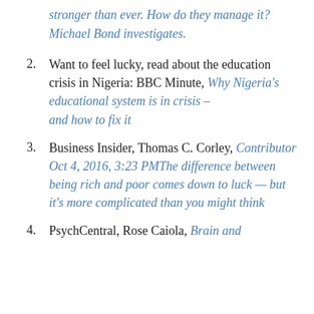stronger than ever. How do they manage it? Michael Bond investigates.
2. Want to feel lucky, read about the education crisis in Nigeria: BBC Minute, Why Nigeria's educational system is in crisis – and how to fix it
3. Business Insider, Thomas C. Corley, Contributor Oct 4, 2016, 3:23 PM The difference between being rich and poor comes down to luck — but it's more complicated than you might think
4. PsychCentral, Rose Caiola, Brain and